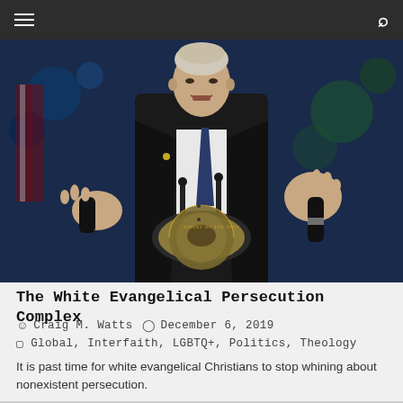Navigation bar with hamburger menu and search icon
[Figure (photo): A man in a dark suit and blue tie speaking at a podium with the Presidential seal, gesturing with both hands raised, against a dark blue background with American flag visible.]
The White Evangelical Persecution Complex
Craig M. Watts   December 6, 2019
Global, Interfaith, LGBTQ+, Politics, Theology
It is past time for white evangelical Christians to stop whining about nonexistent persecution.